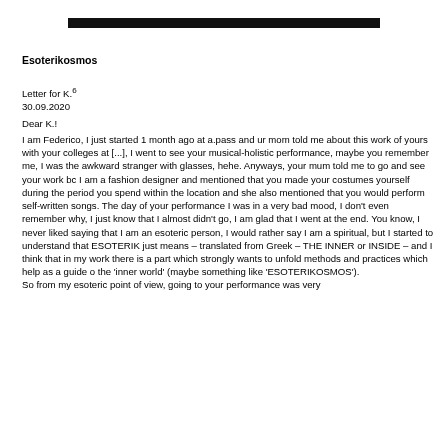Esoterikosmos
Letter for K.6
30.09.2020

Dear K.!
I am Federico, I just started 1 month ago at a.pass and ur mom told me about this work of yours with your colleges at [...], I went to see your musical-holistic performance, maybe you remember me, I was the awkward stranger with glasses, hehe. Anyways, your mum told me to go and see your work bc I am a fashion designer and mentioned that you made your costumes yourself during the period you spend within the location and she also mentioned that you would perform self-written songs. The day of your performance I was in a very bad mood, I don't even remember why, I just know that I almost didn't go, I am glad that I went at the end. You know, I never liked saying that I am an esoteric person, I would rather say I am a spiritual, but I started to understand that ESOTERIK just means – translated from Greek – THE INNER or INSIDE – and I think that in my work there is a part which strongly wants to unfold methods and practices which help as a guide o the 'inner world' (maybe something like 'ESOTERIKOSMOS').
So from my esoteric point of view, going to your performance was very